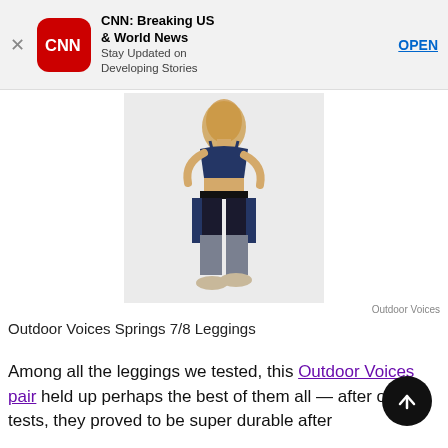[Figure (screenshot): CNN app advertisement banner with CNN logo, title 'CNN: Breaking US & World News', subtitle 'Stay Updated on Developing Stories', and OPEN button]
[Figure (photo): Model wearing Outdoor Voices Springs 7/8 Leggings — navy/black/grey colorblock athletic leggings with a matching navy sports bra crop top]
Outdoor Voices
Outdoor Voices Springs 7/8 Leggings
Among all the leggings we tested, this Outdoor Voices pair held up perhaps the best of them all — after our tests, they proved to be super durable after